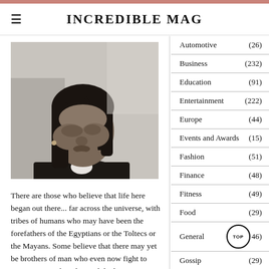INCREDIBLE MAG
[Figure (photo): Black and white portrait photo of a young woman with long straight hair, looking to the side]
There are those who believe that life here began out there... far across the universe, with tribes of humans who may have been the forefathers of the Egyptians or the Toltecs or the Mayans. Some believe that there may yet be brothers of man who even now fight to survive somewhere beyond the heavens.
Automotive (26)
Business (232)
Education (91)
Entertainment (222)
Europe (44)
Events and Awards (15)
Fashion (51)
Finance (48)
Fitness (49)
Food (29)
General (46)
Gossip (29)